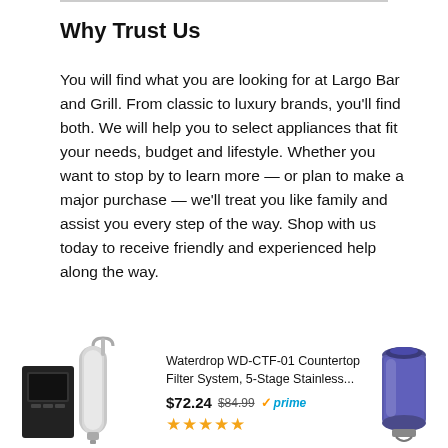Why Trust Us
You will find what you are looking for at Largo Bar and Grill. From classic to luxury brands, you'll find both. We will help you to select appliances that fit your needs, budget and lifestyle. Whether you want to stop by to learn more — or plan to make a major purchase — we'll treat you like family and assist you every step of the way. Shop with us today to receive friendly and experienced help along the way.
[Figure (photo): Waterdrop countertop water filter system product image on the left]
Waterdrop WD-CTF-01 Countertop Filter System, 5-Stage Stainless... $72.24  $84.99  prime (5 stars)
[Figure (photo): Purple countertop water filter product image on the right]